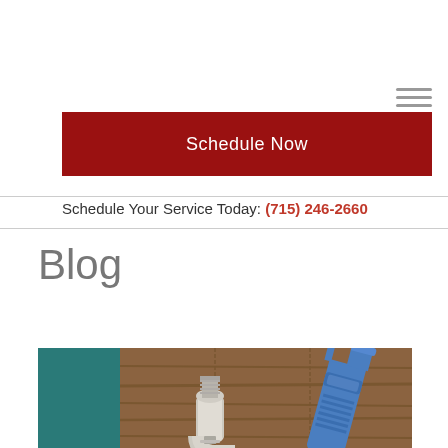[Figure (screenshot): Hamburger menu icon (three horizontal lines) in top right corner]
[Figure (screenshot): Red 'Schedule Now' button]
Schedule Your Service Today: (715) 246-2660
Blog
[Figure (photo): Plumbing tools photo: pipe fitting and blue adjustable wrench on wooden background, with teal painted wood panel on left]